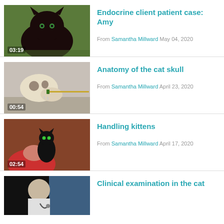[Figure (photo): Thumbnail of a black cat on green grass background, duration 03:19]
Endocrine client patient case: Amy
From Samantha Millward May 04, 2020
[Figure (photo): Thumbnail of a cat skull with a pointer stick, duration 00:54]
Anatomy of the cat skull
From Samantha Millward April 23, 2020
[Figure (photo): Thumbnail of person handling a black kitten, duration 02:54]
Handling kittens
From Samantha Millward April 17, 2020
[Figure (photo): Thumbnail of person with stethoscope, clinical examination video]
Clinical examination in the cat